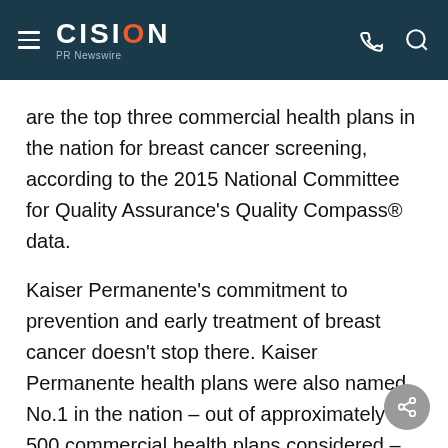CISION PR Newswire
are the top three commercial health plans in the nation for breast cancer screening, according to the 2015 National Committee for Quality Assurance's Quality Compass® data.
Kaiser Permanente's commitment to prevention and early treatment of breast cancer doesn't stop there. Kaiser Permanente health plans were also named No.1 in the nation – out of approximately 500 commercial health plans considered – for 21 measures, including cervical cancer screening, controlling high blood pressure, adult BMI assessment, and comprehensive diabetes care